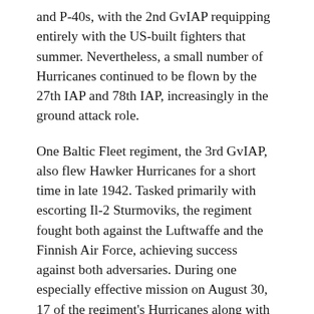and P-40s, with the 2nd GvIAP requipping entirely with the US-built fighters that summer. Nevertheless, a small number of Hurricanes continued to be flown by the 27th IAP and 78th IAP, increasingly in the ground attack role.
One Baltic Fleet regiment, the 3rd GvIAP, also flew Hawker Hurricanes for a short time in late 1942. Tasked primarily with escorting Il-2 Sturmoviks, the regiment fought both against the Luftwaffe and the Finnish Air Force, achieving success against both adversaries. During one especially effective mission on August 30, 17 of the regiment's Hurricanes along with seven P-40s escorted a ground attack force of eight Ilyushin Il-2s against the Gorodets airfield, where a number of Junkers Ju-88 bombers were based. While the Il-2s were approaching Gorodets, a group of Hurricanes split